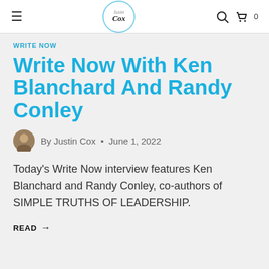Justin Cox — Navigation bar with hamburger menu, logo, search and cart icons
WRITE NOW
Write Now With Ken Blanchard And Randy Conley
By Justin Cox • June 1, 2022
Today's Write Now interview features Ken Blanchard and Randy Conley, co-authors of SIMPLE TRUTHS OF LEADERSHIP.
READ →